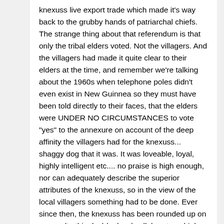knexuss live export trade which made it's way back to the grubby hands of patriarchal chiefs.  The strange thing about that referendum is that only the tribal elders voted.  Not the villagers.  And the villagers had made it quite clear to their elders at the time, and remember we're talking about the 1960s when telephone poles didn't even exist in New Guinnea so they must have been told directly to their faces, that the elders were UNDER NO CIRCUMSTANCES to vote "yes" to the annexure on account of the deep affinity the villagers had for the knexuss... shaggy dog that it was.  It was loveable, loyal, highly intelligent etc.... no praise is high enough, nor can adequately describe the superior attributes of the knexuss, so in the view of the local villagers something had to be done.   Ever since then, the knexuss has been rounded up on masse (to this day) by local collaborators, high on peyote and God knows what! for a pittance and sold for a king's ransom across state lines.... kind of like the 1930s during